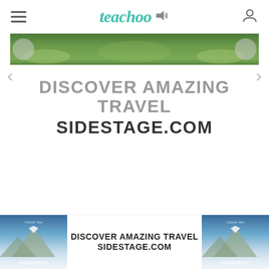teachoo
[Figure (photo): Green meadow/grass landscape banner image at top of page]
[Figure (other): Carousel navigation with left and right arrow buttons]
DISCOVER AMAZING TRAVEL SIDESTAGE.COM
[Figure (other): Bottom advertisement strip with two thumbnail images of Yosemite and text: DISCOVER AMAZING TRAVEL SIDESTAGE.COM]